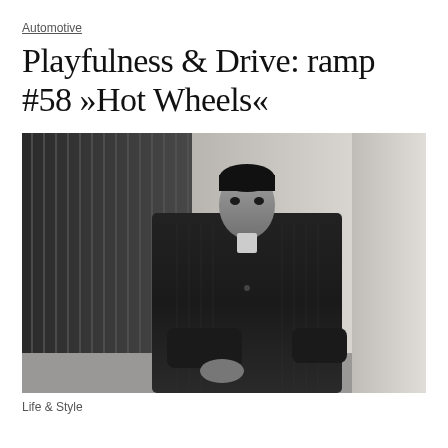Automotive
Playfulness & Drive: ramp #58 »Hot Wheels«
[Figure (photo): Black and white portrait photograph of a dark-haired man in a dark pinstripe suit jacket, leaning against a wall, looking at camera, with a striped door or panel visible in the background.]
Life & Style